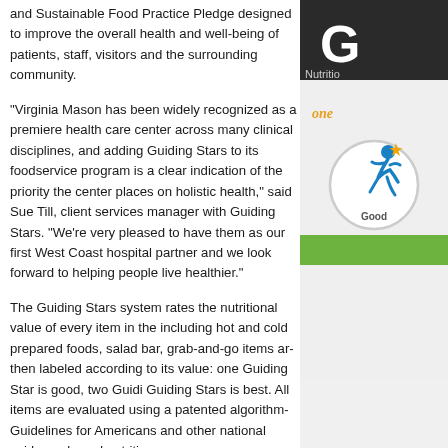and Sustainable Food Practice Pledge designed to improve the overall health and well-being of patients, staff, visitors and the surrounding community.
“Virginia Mason has been widely recognized as a premiere health care center across many clinical disciplines, and adding Guiding Stars to its foodservice program is a clear indication of the priority the center places on holistic health,” said Sue Till, client services manager with Guiding Stars. “We’re very pleased to have them as our first West Coast hospital partner and we look forward to helping people live healthier.”
The Guiding Stars system rates the nutritional value of every item in the café, including hot and cold prepared foods, salad bar, grab-and-go items and more. Each item is then labeled according to its value: one Guiding Star is good, two Guiding Stars is better, three Guiding Stars is best. All items are evaluated using a patented algorithm based on the Dietary Guidelines for Americans and other national evidence-based nutrition standards.
“We all know that eating healthy is so important, but when you’re pressed for time or worried about a loved one, it can be difficult to take time to figure out which items are nutritious,” said Nicole Mason, Food & Nutrition Director. “Wh
[Figure (logo): Guiding Stars logo with a runner figure and star, labeled 'Good' with one star rating, on a green background. Header shows 'G' and 'Nutritio' text.]